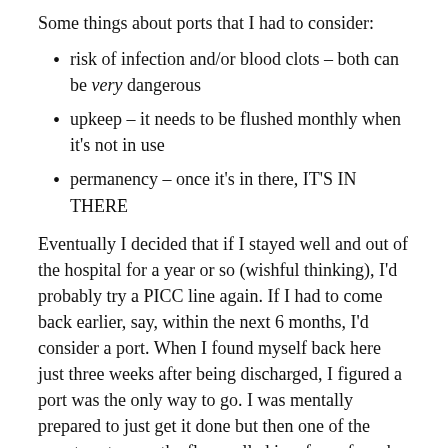Some things about ports that I had to consider:
risk of infection and/or blood clots – both can be very dangerous
upkeep – it needs to be flushed monthly when it's not in use
permanency – once it's in there, IT'S IN THERE
Eventually I decided that if I stayed well and out of the hospital for a year or so (wishful thinking), I'd probably try a PICC line again. If I had to come back earlier, say, within the next 6 months, I'd consider a port. When I found myself back here just three weeks after being discharged, I figured a port was the only way to go. I was mentally prepared to just get it done but then one of the sweet cysters on the floor called in a favor from her